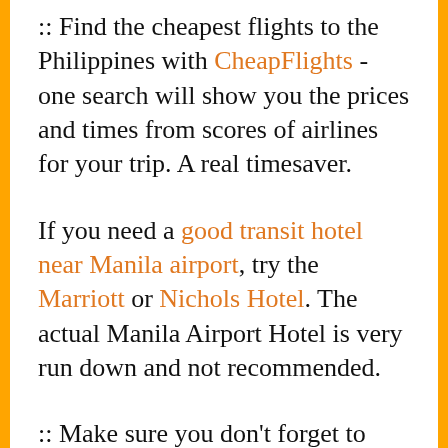:: Find the cheapest flights to the Philippines with CheapFlights - one search will show you the prices and times from scores of airlines for your trip. A real timesaver.
If you need a good transit hotel near Manila airport, try the Marriott or Nichols Hotel. The actual Manila Airport Hotel is very run down and not recommended.
:: Make sure you don't forget to bring any of the essentials for your scuba diving trip with our comprehensive Liveaboard Packing List...